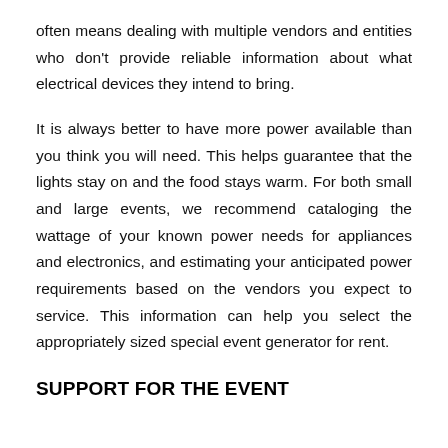often means dealing with multiple vendors and entities who don't provide reliable information about what electrical devices they intend to bring.
It is always better to have more power available than you think you will need. This helps guarantee that the lights stay on and the food stays warm. For both small and large events, we recommend cataloging the wattage of your known power needs for appliances and electronics, and estimating your anticipated power requirements based on the vendors you expect to service. This information can help you select the appropriately sized special event generator for rent.
SUPPORT FOR THE EVENT